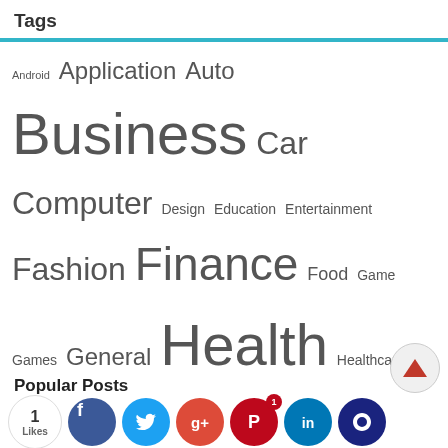Tags
Android Application Auto Business Car Computer Design Education Entertainment Fashion Finance Food Game Games General Health Healthcare Health Guide Health Tips Home Home Improvement How to Insurance Internet Law Lawyer Lifestyle Loan Marketing Mobile Money Property Real Estate Security SEO SEO Tips Shopping Social Media Software Tech Technology Travel Traveling Travel Tips Writing
Popular Posts